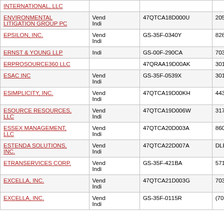| Company Name | Type | Contract Number | Phone/Email | City/State |
| --- | --- | --- | --- | --- |
| INTERNATIONAL, LLC |  |  |  |  |
| ENVIRONMENTAL LITIGATION GROUP PC | Vend Indi | 47QTCA18D000U | 205-328-9000 | BI... |
| EPSILON, INC. | Vend Indi | GS-35F-0340Y | 828-398-5400 | WE... |
| ERNST & YOUNG LLP | Indi | GS-00F-290CA | 703-747-0049 | NEW... |
| ERPROSOURCE360 LLC |  | 47QRAA19D00AK | 3014900080 | WA... |
| ESAC INC | Vend Indi | GS-35F-0539X | 3014370458 | ROCK... |
| ESIMPLICITY, INC. | Vend Indi | 47QTCA19D00KH | 443-963-9363 | SIL... |
| ESOURCE RESOURCES, LLC | Vend Indi | 47QTCA19D006W | 3175725028 | IND... |
| ESSEX MANAGEMENT, LLC | Vend Indi | 47QTCA20D003A | 8602350076 | ESSE... |
| ESTENDA SOLUTIONS, INC. | Vend Indi | 47QTCA22D007A | DLEWIS@ESTENDA.COM | CONS... |
| ETRANSERVICES CORP. | Vend Indi | GS-35F-421BA | 571-405-5560 | FREDE... |
| EXCELLA, INC. | Vend Indi | 47QTCA21D003G | 703-840-8600 | ARLI... |
| EXCELLA, INC. | Vend Indi | GS-35F-0115R | (703)840-8600 | ARLI... |